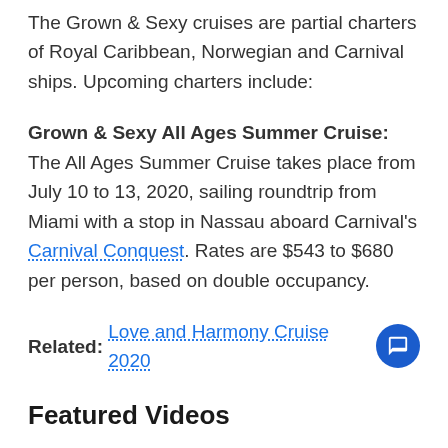The Grown & Sexy cruises are partial charters of Royal Caribbean, Norwegian and Carnival ships. Upcoming charters include:
Grown & Sexy All Ages Summer Cruise: The All Ages Summer Cruise takes place from July 10 to 13, 2020, sailing roundtrip from Miami with a stop in Nassau aboard Carnival's Carnival Conquest. Rates are $543 to $680 per person, based on double occupancy.
Related: Love and Harmony Cruise 2020
Featured Videos